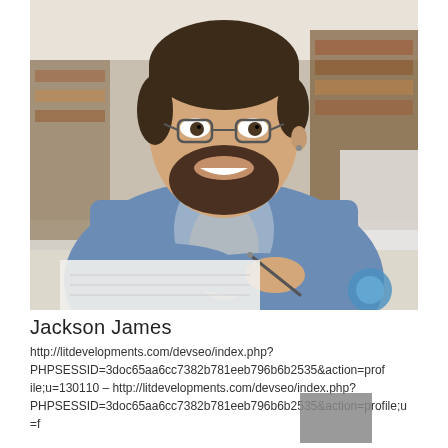[Figure (photo): A smiling young man with glasses and a beard, wearing a blue shirt, sitting at a desk holding a pen, with bookshelves in the background.]
Jackson James
http://litdevelopments.com/devseo/index.php?PHPSESSID=3doc65aa6cc7382b781eeb796b6b2535&action=profile;u=130110 – http://litdevelopments.com/devseo/index.php?PHPSESSID=3doc65aa6cc7382b781eeb796b6b2535&action=profile;u=f